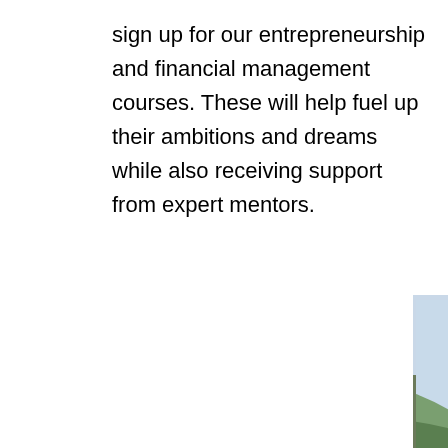sign up for our entrepreneurship and financial management courses. These will help fuel up their ambitions and dreams while also receiving support from expert mentors.
[Figure (photo): Two young scouts wearing olive/khaki uniforms with yellow neckerchiefs and backpacks, standing outdoors on a hillside with green mountains in the background. One scout is pointing with a finger while the other holds a map and looks on. They appear to be navigating or discussing directions.]